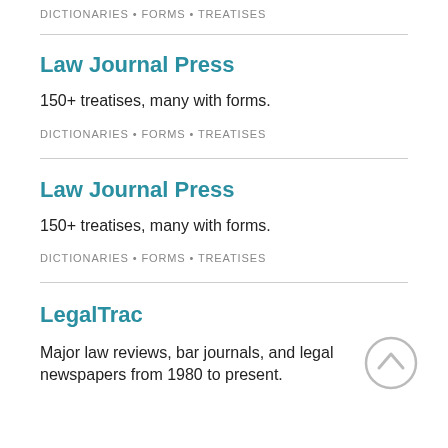DICTIONARIES • FORMS • TREATISES
Law Journal Press
150+ treatises, many with forms.
DICTIONARIES • FORMS • TREATISES
Law Journal Press
150+ treatises, many with forms.
DICTIONARIES • FORMS • TREATISES
LegalTrac
Major law reviews, bar journals, and legal newspapers from 1980 to present.